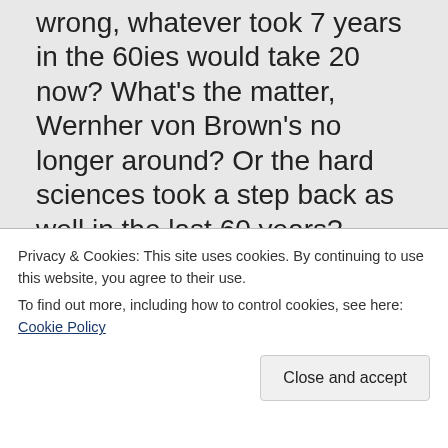wrong, whatever took 7 years in the 60ies would take 20 now? What's the matter, Wernher von Brown's no longer around? Or the hard sciences took a step back as well in the last 60 years?
do the job.
Privacy & Cookies: This site uses cookies. By continuing to use this website, you agree to their use. To find out more, including how to control cookies, see here: Cookie Policy
Close and accept